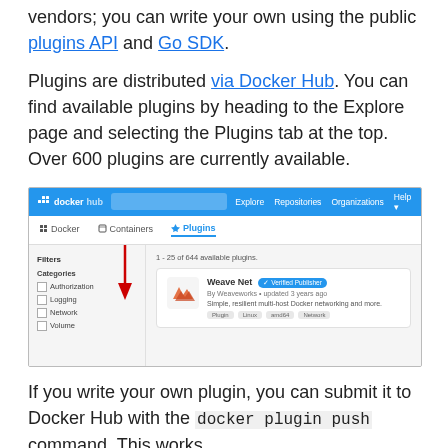vendors; you can write your own using the public plugins API and Go SDK.
Plugins are distributed via Docker Hub. You can find available plugins by heading to the Explore page and selecting the Plugins tab at the top. Over 600 plugins are currently available.
[Figure (screenshot): Screenshot of Docker Hub showing the Plugins tab selected, a red arrow pointing to the Plugins tab, filters sidebar on the left with Authorization, Logging, Network, Volume categories, and a Weave Net Verified Publisher plugin card showing '1 - 25 of 644 available plugins'.]
If you write your own plugin, you can submit it to Docker Hub with the docker plugin push command. This works